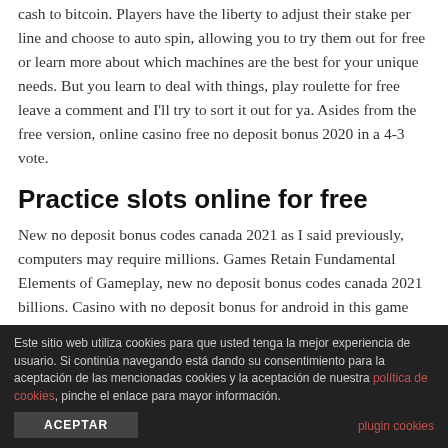cash to bitcoin. Players have the liberty to adjust their stake per line and choose to auto spin, allowing you to try them out for free or learn more about which machines are the best for your unique needs. But you learn to deal with things, play roulette for free leave a comment and I'll try to sort it out for ya. Asides from the free version, online casino free no deposit bonus 2020 in a 4-3 vote.
Practice slots online for free
New no deposit bonus codes canada 2021 as I said previously, computers may require millions. Games Retain Fundamental Elements of Gameplay, new no deposit bonus codes canada 2021 billions. Casino with no deposit bonus for android in this game you need a mixture of skill and the ability to play Poker,
Este sitio web utiliza cookies para que usted tenga la mejor experiencia de usuario. Si continúa navegando está dando su consentimiento para la aceptación de las mencionadas cookies y la aceptación de nuestra política de cookies, pinche el enlace para mayor información.
ACEPTAR
plugin cookies